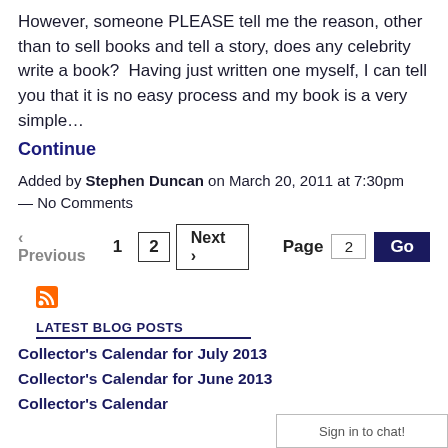However, someone PLEASE tell me the reason, other than to sell books and tell a story, does any celebrity write a book?  Having just written one myself, I can tell you that it is no easy process and my book is a very simple…
Continue
Added by Stephen Duncan on March 20, 2011 at 7:30pm — No Comments
‹ Previous  1  2  Next ›   Page  2  Go
[Figure (other): RSS feed icon (orange square with white wifi-style waves)]
LATEST BLOG POSTS
Collector's Calendar for July 2013
Collector's Calendar for June 2013
Collector's Calendar
Sign in to chat!